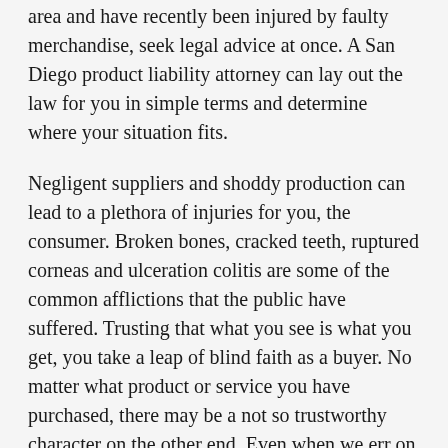area and have recently been injured by faulty merchandise, seek legal advice at once. A San Diego product liability attorney can lay out the law for you in simple terms and determine where your situation fits.
Negligent suppliers and shoddy production can lead to a plethora of injuries for you, the consumer. Broken bones, cracked teeth, ruptured corneas and ulceration colitis are some of the common afflictions that the public have suffered. Trusting that what you see is what you get, you take a leap of blind faith as a buyer. No matter what product or service you have purchased, there may be a not so trustworthy character on the other end. Even when we err on the side of caution, we can protect ourselves 100% of the time.
Product liability laws are there for the consumer's protection, and they state that a company's failure to fulfill their promise will result in compensation, fines,